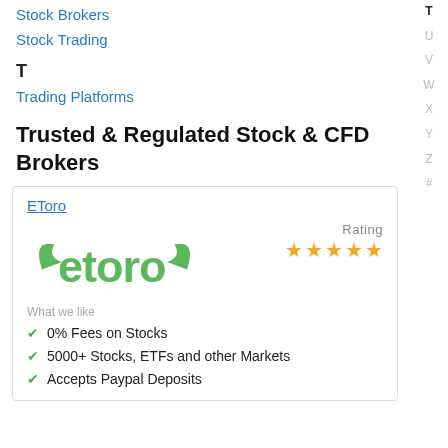Stock Brokers
Stock Trading
T
Trading Platforms
Trusted & Regulated Stock & CFD Brokers
EToro
[Figure (logo): eToro green logo with bull horns]
Rating
What we like
0% Fees on Stocks
5000+ Stocks, ETFs and other Markets
Accepts Paypal Deposits